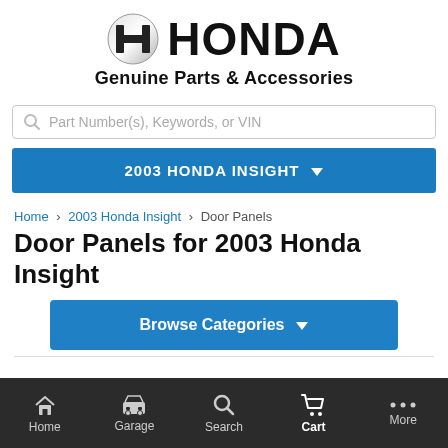[Figure (logo): Honda H logo with HONDA text and Genuine Parts & Accessories subtitle]
Part Number(s), Keywords, or VIN
2003 HONDA INSIGHT
Home > 2003 Honda Insight > Door Panels
Door Panels for 2003 Honda Insight
Browse Categories
Home  Garage  Search  Cart  More